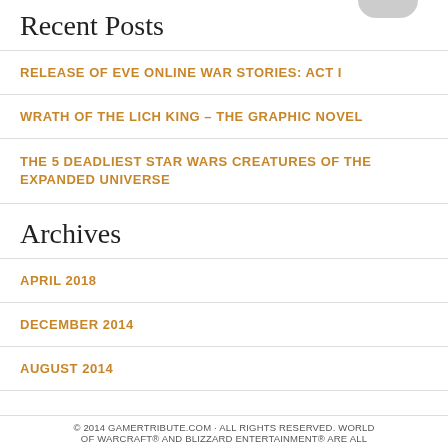Recent Posts
RELEASE OF EVE ONLINE WAR STORIES: ACT I
WRATH OF THE LICH KING – THE GRAPHIC NOVEL
THE 5 DEADLIEST STAR WARS CREATURES OF THE EXPANDED UNIVERSE
Archives
APRIL 2018
DECEMBER 2014
AUGUST 2014
© 2014 GAMERTRIBUTE.COM · ALL RIGHTS RESERVED. WORLD OF WARCRAFT AND BLIZZARD ENTERTAINMENT® ARE ALL